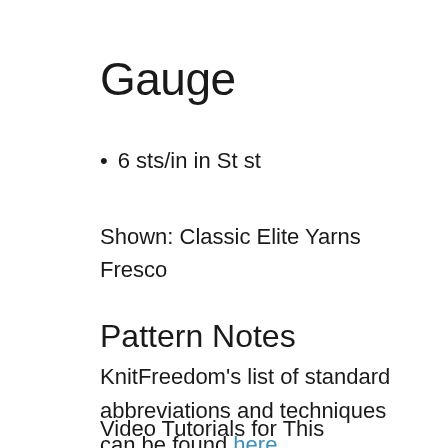Gauge
6 sts/in in St st
Shown: Classic Elite Yarns Fresco
Pattern Notes
KnitFreedom's list of standard abbreviations and techniques can be found here.
Video Tutorials for This